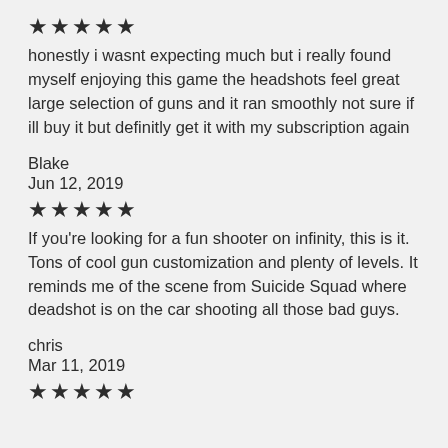★★★★★
honestly i wasnt expecting much but i really found myself enjoying this game the headshots feel great large selection of guns and it ran smoothly not sure if ill buy it but definitly get it with my subscription again
Blake
Jun 12, 2019
★★★★★
If you're looking for a fun shooter on infinity, this is it. Tons of cool gun customization and plenty of levels. It reminds me of the scene from Suicide Squad where deadshot is on the car shooting all those bad guys.
chris
Mar 11, 2019
★★★★★